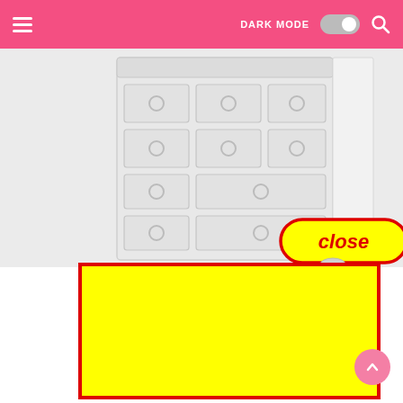DARK MODE [toggle] [search]
[Figure (screenshot): Partial view of a white dresser/chest of drawers with circular drawer pulls, shown from above. A red-bordered 'close' button with yellow background overlays the bottom of the image.]
[Figure (other): Large yellow rectangle with thick red border, representing an advertisement overlay blocking page content.]
Coloring ... ree Hallow... le Paw Patrol C... ouring Picture...